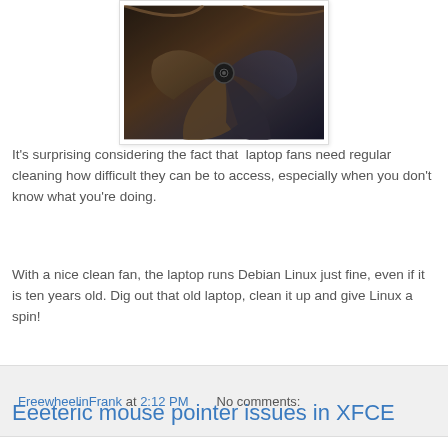[Figure (photo): Close-up photo of laptop fan and internal components, dark tones with brown/leather-like texture and metal parts visible]
It's surprising considering the fact that  laptop fans need regular cleaning how difficult they can be to access, especially when you don't know what you're doing.
With a nice clean fan, the laptop runs Debian Linux just fine, even if it is ten years old. Dig out that old laptop, clean it up and give Linux a spin!
FreewheelinFrank at 2:12 PM   No comments:
Eeeteric mouse pointer issues in XFCE